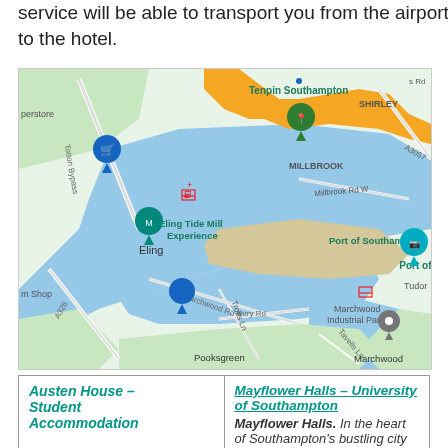service will be able to transport you from the airport to the hotel.
[Figure (map): Google Maps view showing Southampton area including Tenpin Southampton, Eling Tide Mill Experience, Port of Southampton, Marchwood Industrial Park, Millbrook, Shirley, Pooksgreen, and Marchwood. Shows waterways, roads including Totton Bypass, A326, A3057, Millbrook Rd W, Marchwood Rd, Bury Rd, Trotts Ln, Tavells Ln. Various map pins in blue, green, and grey.]
| Austen House – Student Accommodation | Mayflower Halls – University of Southampton |
| --- | --- |
|  | Mayflower Halls. In the heart of Southampton's bustling city |